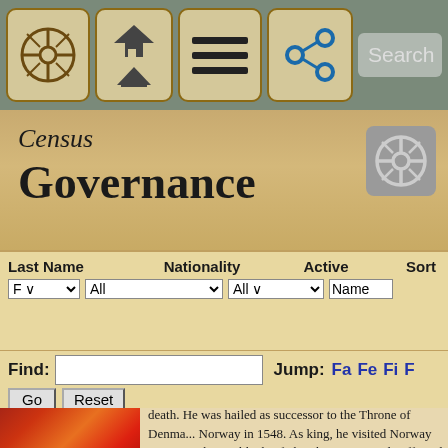Census Governance
Last Name: F | Nationality: All | Active: All | Sort: Name
Find: [input] Jump: Fa Fe Fi F...
...King of Denmark and Norway and duke of Schleswig... death. He was hailed as successor to the Throne of Denmark and Norway in 1548. As king, he visited Norway in 1585, who... Unlike his father, he was strongly affected by military ide... young man he made friendship with German war princes.
Timeline (2)   Links (1)
Cross-listed in Composers
Frederick II of Prussia
aka: Frederick the Great
King of Prussia whose achievements included his military reorganization of Prussian armies, patronage of the Arts...
born 1712